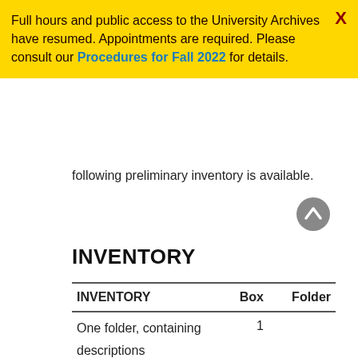Full hours and public access to the University Archives have resumed. Appointments are required. Please consult our Procedures for Fall 2022 for details.
following preliminary inventory is available.
INVENTORY
| INVENTORY | Box | Folder |
| --- | --- | --- |
| One folder, containing descriptions of source materials dealing with 17th and 18th Century American History (includes the Lippincott Collection, owned by the Historical Society of Pa.) | 1 |  |